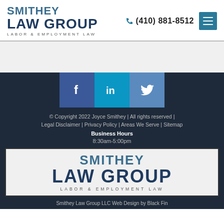[Figure (logo): Smithey Law Group logo with 'LABOR & EMPLOYMENT LAW' tagline]
(410) 881-8512
[Figure (infographic): Social media icons: Facebook, LinkedIn, Twitter]
© Copyright 2022 Joyce Smithey | All rights reserved |
Legal Disclaimer | Privacy Policy | Areas We Serve | Sitemap
Business Hours
8:30am-5:00pm
[Figure (logo): Smithey Law Group logo box with 'LABOR & EMPLOYMENT LAW' tagline]
Smithey Law Group LLC Web Design by Black Fin